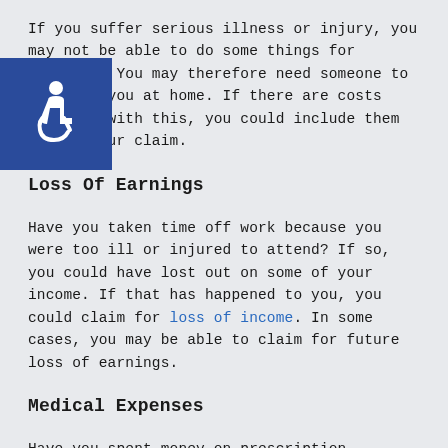If you suffer serious illness or injury, you may not be able to do some things for yourself. You may therefore need someone to care for you at home. If there are costs involved with this, you could include them within your claim.
[Figure (illustration): Blue square icon with white wheelchair accessibility symbol]
Loss Of Earnings
Have you taken time off work because you were too ill or injured to attend? If so, you could have lost out on some of your income. If that has happened to you, you could claim for loss of income. In some cases, you may be able to claim for future loss of earnings.
Medical Expenses
Have you spent money on prescription medicines because of your injuries? Or, have you had to pay for treatment? You could also include medical expenses within your claim.
Travel Costs